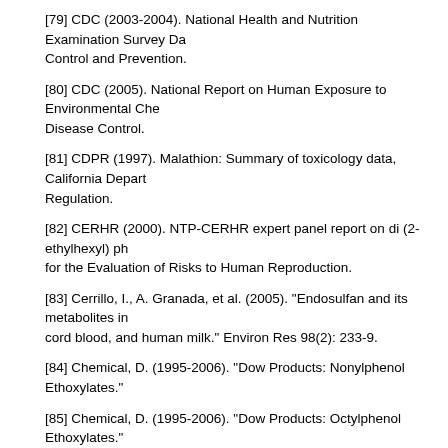[79] CDC (2003-2004). National Health and Nutrition Examination Survey Da... Control and Prevention.
[80] CDC (2005). National Report on Human Exposure to Environmental Che... Disease Control.
[81] CDPR (1997). Malathion: Summary of toxicology data, California Depart... Regulation.
[82] CERHR (2000). NTP-CERHR expert panel report on di (2-ethylhexyl) ph... for the Evaluation of Risks to Human Reproduction.
[83] Cerrillo, I., A. Granada, et al. (2005). "Endosulfan and its metabolites in ... cord blood, and human milk." Environ Res 98(2): 233-9.
[84] Chemical, D. (1995-2006). "Dow Products: Nonylphenol Ethoxylates."
[85] Chemical, D. (1995-2006). "Dow Products: Octylphenol Ethoxylates."
[86] Chou, Y. J. and D. R. Dietrich (1999). "Interactions of nitromusk parent c... amino-metabolites with the estrogen receptors of rainbow trout (Oncorhynch... African clawed frog (Xenopus laevis)." Toxicol Lett 111(1-2): 27-36.
[87] Chou, Y. J. and D. R. Dietrich (1999). "Toxicity of nitromusks in early lifes... clawed frog (Xenopus laevis) and zebrafish (Danio rerio)." Toxicol Lett 111(1...
[88] Chou, Y. J. and D. R. Dietrich (1999a). "Interactions of nitromusk parent ... amino-metabolites with the estrogen receptors of rainbow trout (Oncorhynch... African clawed frog (Xenopus laevis)." Toxicol Lett 111(1-2): 27-36.